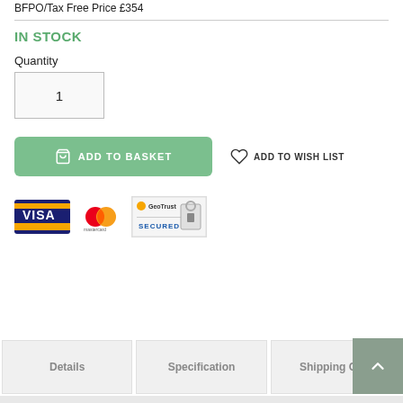BFPO/Tax Free Price £354
IN STOCK
Quantity
1
ADD TO BASKET
ADD TO WISH LIST
[Figure (logo): Visa, Mastercard, and GeoTrust Secured payment logos]
Details
Specification
Shipping Co...